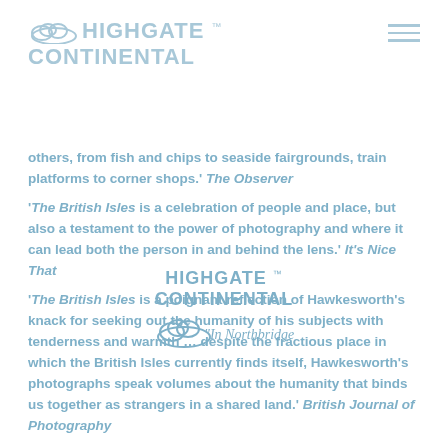HIGHGATE ™ CONTINENTAL
...others, from fish and chips to seaside fairgrounds, train platforms to corner shops.' The Observer
'The British Isles is a celebration of people and place, but also a testament to the power of photography and where it can lead both the person in and behind the lens.' It's Nice That
[Figure (logo): Highgate Continental 'In Northbridge!' logo with cloud graphic]
'The British Isles is a poignant reflection of Hawkesworth's knack for seeking out the humanity of his subjects with tenderness and warmth … despite the fractious place in which the British Isles currently finds itself, Hawkesworth's photographs speak volumes about the humanity that binds us together as strangers in a shared land.' British Journal of Photography